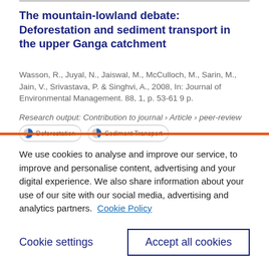The mountain-lowland debate: Deforestation and sediment transport in the upper Ganga catchment
Wasson, R., Juyal, N., Jaiswal, M., McCulloch, M., Sarin, M., Jain, V., Srivastava, P. & Singhvi, A., 2008, In: Journal of Environmental Management. 88, 1, p. 53-61 9 p.
Research output: Contribution to journal › Article › peer-review
We use cookies to analyse and improve our service, to improve and personalise content, advertising and your digital experience. We also share information about your use of our site with our social media, advertising and analytics partners.  Cookie Policy
Cookie settings
Accept all cookies